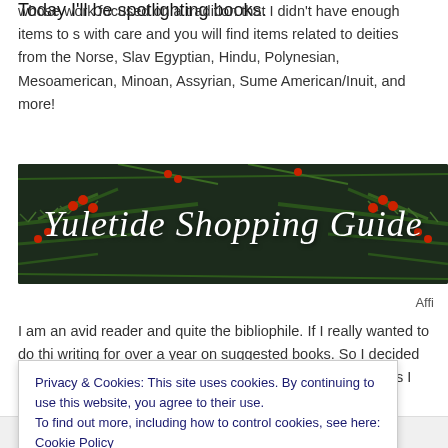whose work focused on a tradition that I didn't have enough items to s... with care and you will find items related to deities from the Norse, Slav... Egyptian, Hindu, Polynesian, Mesoamerican, Minoan, Assyrian, Sume... American/Inuit, and more!
Today I'll be spotlighting books.
[Figure (illustration): Banner image with dark green holiday foliage (pine branches, holly berries) background with cursive white text reading 'Yuletide Shopping Guide']
Affi...
I am an avid reader and quite the bibliophile. If I really wanted to do thi... writing for over a year on suggested books. So I decided to approach t... point of view of more recently published works I have either personally...
Privacy & Cookies: This site uses cookies. By continuing to use this website, you agree to their use.
To find out more, including how to control cookies, see here: Cookie Policy
Close and accept